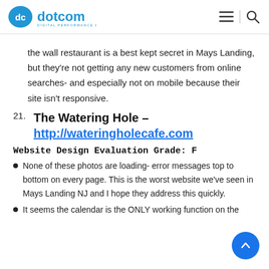dotcom DIGITAL PERFORMANCE EXPERTS
the wall restaurant is a best kept secret in Mays Landing, but they're not getting any new customers from online searches- and especially not on mobile because their site isn't responsive.
21. The Watering Hole – http://wateringholecafe.com
Website Design Evaluation Grade: F
None of these photos are loading- error messages top to bottom on every page. This is the worst website we've seen in Mays Landing NJ and I hope they address this quickly.
It seems the calendar is the ONLY working function on the...